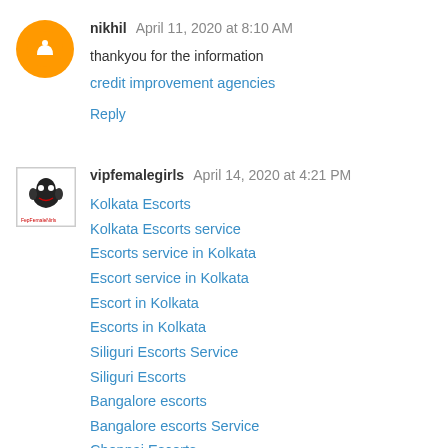nikhil  April 11, 2020 at 8:10 AM
thankyou for the information
credit improvement agencies
Reply
vipfemalegirls  April 14, 2020 at 4:21 PM
Kolkata Escorts
Kolkata Escorts service
Escorts service in Kolkata
Escort service in Kolkata
Escort in Kolkata
Escorts in Kolkata
Siliguri Escorts Service
Siliguri Escorts
Bangalore escorts
Bangalore escorts Service
Chennai Escorts
Chennai Escorts Service